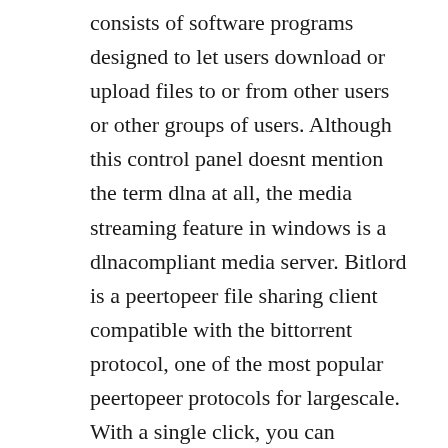consists of software programs designed to let users download or upload files to or from other users or other groups of users. Although this control panel doesnt mention the term dlna at all, the media streaming feature in windows is a dlnacompliant media server. Bitlord is a peertopeer file sharing client compatible with the bittorrent protocol, one of the most popular peertopeer protocols for largescale. With a single click, you can download your entire photo collection, project files, or work documents in one convenient zip file. Click here to download the plex